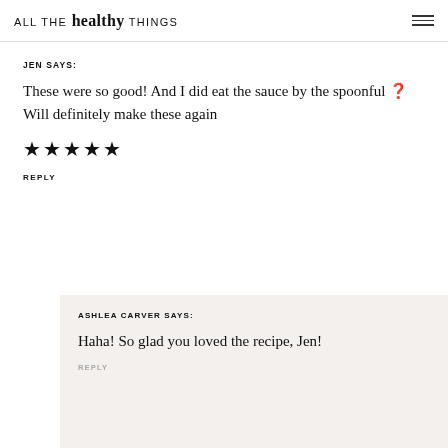ALL THE healthy THINGS
JEN SAYS:
These were so good! And I did eat the sauce by the spoonful 🤣 Will definitely make these again
★★★★★
REPLY
ASHLEA CARVER SAYS:
Haha! So glad you loved the recipe, Jen!
REPLY